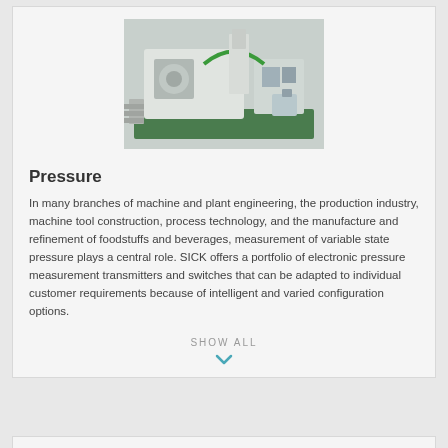[Figure (photo): 3D rendering of industrial machine/plant engineering equipment showing automated production machinery components]
Pressure
In many branches of machine and plant engineering, the production industry, machine tool construction, process technology, and the manufacture and refinement of foodstuffs and beverages, measurement of variable state pressure plays a central role. SICK offers a portfolio of electronic pressure measurement transmitters and switches that can be adapted to individual customer requirements because of intelligent and varied configuration options.
SHOW ALL
[Figure (photo): Partial view of another industrial product/equipment image at bottom of page]